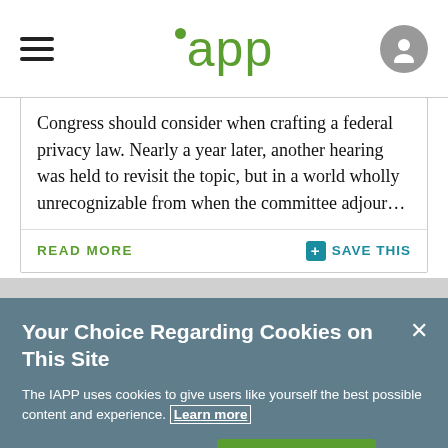iapp
Congress should consider when crafting a federal privacy law. Nearly a year later, another hearing was held to revisit the topic, but in a world wholly unrecognizable from when the committee adjour...
READ MORE    SAVE THIS
Your Choice Regarding Cookies on This Site
The IAPP uses cookies to give users like yourself the best possible content and experience. Learn more
Manage Cookies    Accept